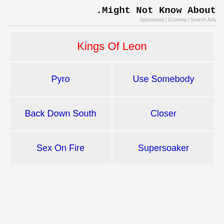.Might Not Know About
Sponsored | Eczema | Search Ads
| Kings Of Leon |
| --- |
| Pyro | Use Somebody |
| Back Down South | Closer |
| Sex On Fire | Supersoaker |